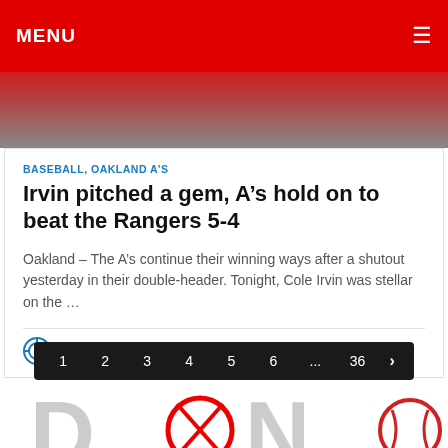MENU ≡
[Figure (photo): Sports photo background showing a baseball player in red, partially visible behind the red navigation bar]
BASEBALL, OAKLAND A'S
Irvin pitched a gem, A's hold on to beat the Rangers 5-4
Oakland – The A's continue their winning ways after a shutout yesterday in their double-header. Tonight, Cole Irvin was stellar on the ...
MALAIKA BOBINO   JULY 23, 2022
1  2  3  4  5  6  ...  36  >